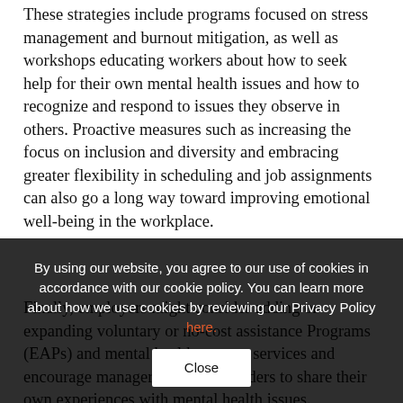These strategies include programs focused on stress management and burnout mitigation, as well as workshops educating workers about how to seek help for their own mental health issues and how to recognize and respond to issues they observe in others. Proactive measures such as increasing the focus on inclusion and diversity and embracing greater flexibility in scheduling and job assignments can also go a long way toward improving emotional well-being in the workplace.
Finally, employers might consider adding or expanding voluntary or no-cost assistance Programs (EAPs) and mental health support services and encourage managers and team leaders to share their own experiences with mental health issues.
By using our website, you agree to our use of cookies in accordance with our cookie policy. You can learn more about how we use cookies by reviewing our Privacy Policy here.